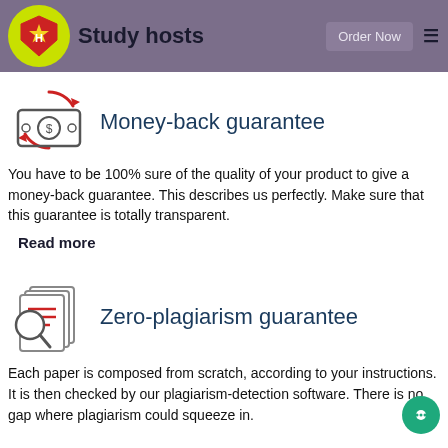Study hosts | Order Now
Money-back guarantee
You have to be 100% sure of the quality of your product to give a money-back guarantee. This describes us perfectly. Make sure that this guarantee is totally transparent.
Read more
Zero-plagiarism guarantee
Each paper is composed from scratch, according to your instructions. It is then checked by our plagiarism-detection software. There is no gap where plagiarism could squeeze in.